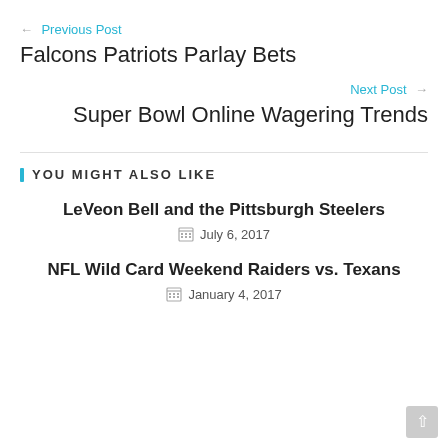← Previous Post
Falcons Patriots Parlay Bets
Next Post →
Super Bowl Online Wagering Trends
YOU MIGHT ALSO LIKE
LeVeon Bell and the Pittsburgh Steelers
July 6, 2017
NFL Wild Card Weekend Raiders vs. Texans
January 4, 2017